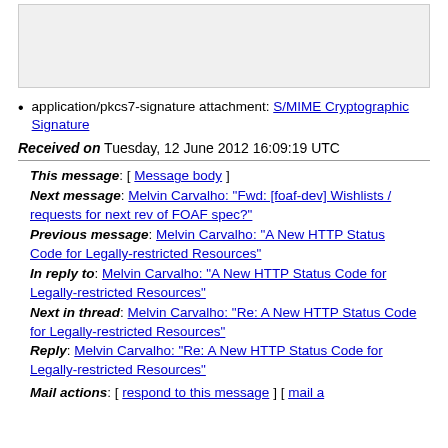[Figure (other): Light gray empty box at top of page]
application/pkcs7-signature attachment: S/MIME Cryptographic Signature
Received on Tuesday, 12 June 2012 16:09:19 UTC
This message: [ Message body ]
Next message: Melvin Carvalho: "Fwd: [foaf-dev] Wishlists / requests for next rev of FOAF spec?"
Previous message: Melvin Carvalho: "A New HTTP Status Code for Legally-restricted Resources"
In reply to: Melvin Carvalho: "A New HTTP Status Code for Legally-restricted Resources"
Next in thread: Melvin Carvalho: "Re: A New HTTP Status Code for Legally-restricted Resources"
Reply: Melvin Carvalho: "Re: A New HTTP Status Code for Legally-restricted Resources"
Mail actions: [ respond to this message ] [ mail a